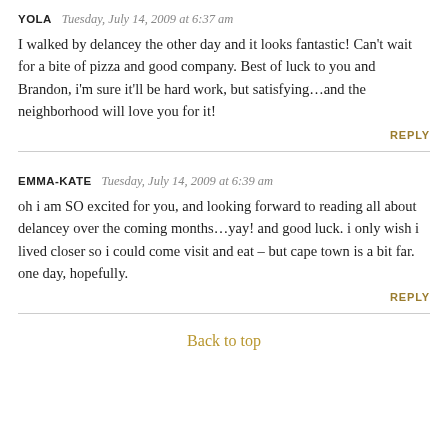YOLA  Tuesday, July 14, 2009 at 6:37 am
I walked by delancey the other day and it looks fantastic! Can't wait for a bite of pizza and good company. Best of luck to you and Brandon, i'm sure it'll be hard work, but satisfying…and the neighborhood will love you for it!
REPLY
EMMA-KATE  Tuesday, July 14, 2009 at 6:39 am
oh i am SO excited for you, and looking forward to reading all about delancey over the coming months…yay! and good luck. i only wish i lived closer so i could come visit and eat – but cape town is a bit far. one day, hopefully.
REPLY
Back to top